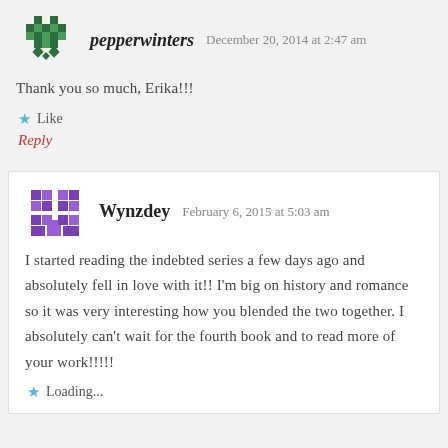[Figure (illustration): Green pixel/mosaic avatar icon for user pepperwinters]
pepperwinters   December 20, 2014 at 2:47 am
Thank you so much, Erika!!!
★ Like
Reply
[Figure (illustration): Purple pixel/mosaic avatar icon for user Wynzdey]
Wynzdey   February 6, 2015 at 5:03 am
I started reading the indebted series a few days ago and absolutely fell in love with it!! I'm big on history and romance so it was very interesting how you blended the two together. I absolutely can't wait for the fourth book and to read more of your work!!!!!
★ Loading...